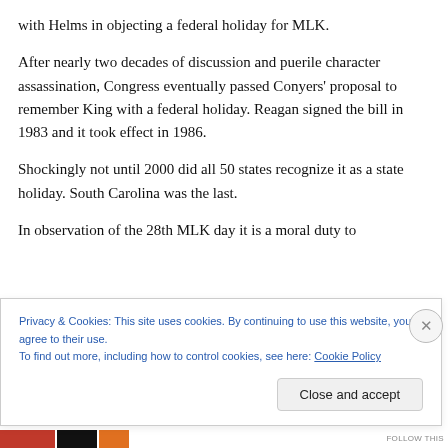with Helms in objecting a federal holiday for MLK.
After nearly two decades of discussion and puerile character assassination, Congress eventually passed Conyers' proposal to remember King with a federal holiday. Reagan signed the bill in 1983 and it took effect in 1986.
Shockingly not until 2000 did all 50 states recognize it as a state holiday. South Carolina was the last.
In observation of the 28th MLK day it is a moral duty to
Privacy & Cookies: This site uses cookies. By continuing to use this website, you agree to their use.
To find out more, including how to control cookies, see here: Cookie Policy
Close and accept